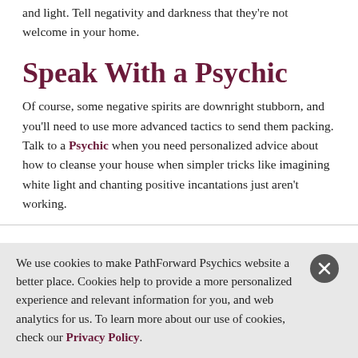and light. Tell negativity and darkness that they're not welcome in your home.
Speak With a Psychic
Of course, some negative spirits are downright stubborn, and you'll need to use more advanced tactics to send them packing. Talk to a Psychic when you need personalized advice about how to cleanse your house when simpler tricks like imagining white light and chanting positive incantations just aren't working.
We use cookies to make PathForward Psychics website a better place. Cookies help to provide a more personalized experience and relevant information for you, and web analytics for us. To learn more about our use of cookies, check our Privacy Policy.